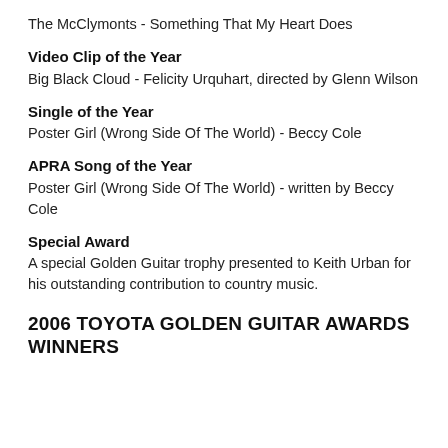The McClymonts - Something That My Heart Does
Video Clip of the Year
Big Black Cloud - Felicity Urquhart, directed by Glenn Wilson
Single of the Year
Poster Girl (Wrong Side Of The World) - Beccy Cole
APRA Song of the Year
Poster Girl (Wrong Side Of The World) - written by Beccy Cole
Special Award
A special Golden Guitar trophy presented to Keith Urban for his outstanding contribution to country music.
2006 TOYOTA GOLDEN GUITAR AWARDS WINNERS